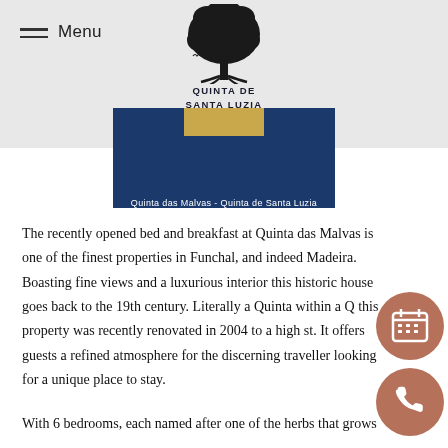[Figure (logo): Quinta de Santa Luzia logo with tree silhouette and text 'QUINTA DE SANTA LUZIA 1826']
[Figure (screenshot): Blue banner image showing 'Quinta das Malvas - Quinta de Santa Luzia' with a golden circle element at top]
The recently opened bed and breakfast at Quinta das Malvas is one of the finest properties in Funchal, and indeed Madeira. Boasting fine views and a luxurious interior this historic house goes back to the 19th century. Literally a Quinta within a Q this property was recently renovated in 2004 to a high st. It offers guests a refined atmosphere for the discerning traveller looking for a unique place to stay.
With 6 bedrooms, each named after one of the herbs that grows